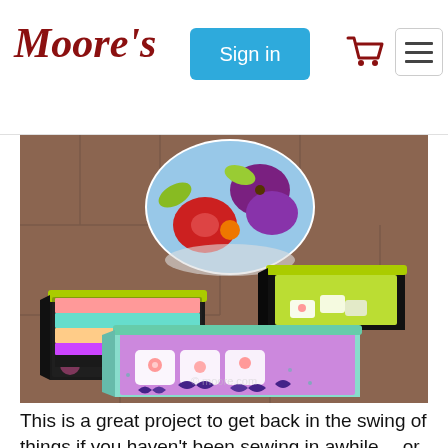Moore's | Sign in
[Figure (photo): Colorful fabric baskets/boxes arranged on stone pavers outdoors. Three rectangular fabric storage bins with floral and butterfly patterns (black with pink flowers, teal with purple butterflies, black with yellow-green trim) and a round fabric pincushion with floral print in the background.]
This is a great project to get back in the swing of things if you haven't been sewing in awhile... or